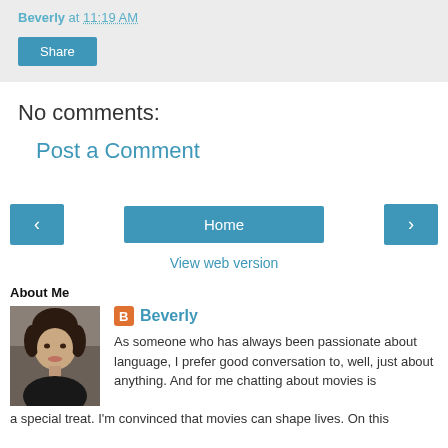Beverly at 11:19 AM
[Figure (other): Share button]
No comments:
Post a Comment
[Figure (other): Navigation buttons: previous, Home, next]
View web version
About Me
[Figure (photo): Profile photo of Beverly, a woman with dark short hair and a smile, wearing a dark top]
Beverly
As someone who has always been passionate about language, I prefer good conversation to, well, just about anything. And for me chatting about movies is a special treat. I'm convinced that movies can shape lives. On this